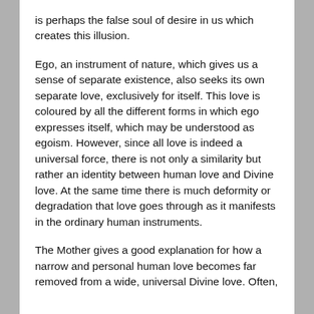is perhaps the false soul of desire in us which creates this illusion.
Ego, an instrument of nature, which gives us a sense of separate existence, also seeks its own separate love, exclusively for itself. This love is coloured by all the different forms in which ego expresses itself, which may be understood as egoism. However, since all love is indeed a universal force, there is not only a similarity but rather an identity between human love and Divine love. At the same time there is much deformity or degradation that love goes through as it manifests in the ordinary human instruments.
The Mother gives a good explanation for how a narrow and personal human love becomes far removed from a wide, universal Divine love. Often,